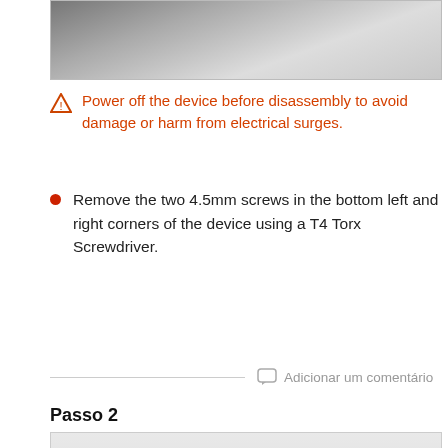[Figure (photo): Top portion of a device disassembly photo, showing a close-up view with dark and grey tones]
Power off the device before disassembly to avoid damage or harm from electrical surges.
Remove the two 4.5mm screws in the bottom left and right corners of the device using a T4 Torx Screwdriver.
Adicionar um comentário
Passo 2
[Figure (photo): Photo of a hand holding a small dark electronic device (smartphone or similar) against a light grey background]